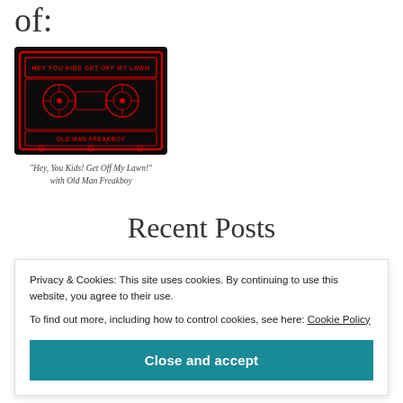of:
[Figure (illustration): A cassette tape with red neon-style art on a black background. Text on tape reads: 'HEY YOU KIDS GET OFF MY LAWN' and 'OLD MAN FREAKBOY']
"Hey, You Kids! Get Off My Lawn!"
with Old Man Freakboy
Recent Posts
Privacy & Cookies: This site uses cookies. By continuing to use this website, you agree to their use.
To find out more, including how to control cookies, see here: Cookie Policy
Close and accept